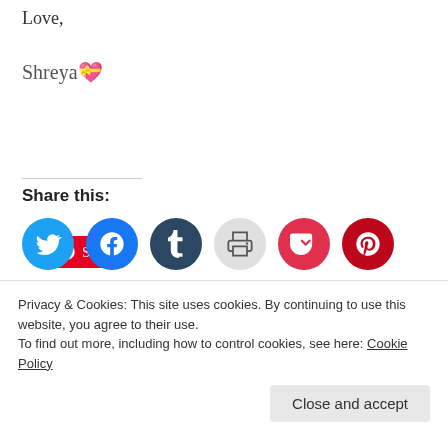Love,
Shreya 💝
[Figure (other): Pinterest Save button - red background with white Pinterest logo and 'Save' text]
Share this:
[Figure (other): Social sharing icons: Twitter (blue circle), Facebook (blue circle), Tumblr (dark circle), Print (gray circle), Pocket (red circle), Pinterest (dark red circle)]
Related
[Figure (photo): Related post thumbnail image - appears to show a cat or animal]
Khoya Peda
Privacy & Cookies: This site uses cookies. By continuing to use this website, you agree to their use.
To find out more, including how to control cookies, see here: Cookie Policy
Close and accept